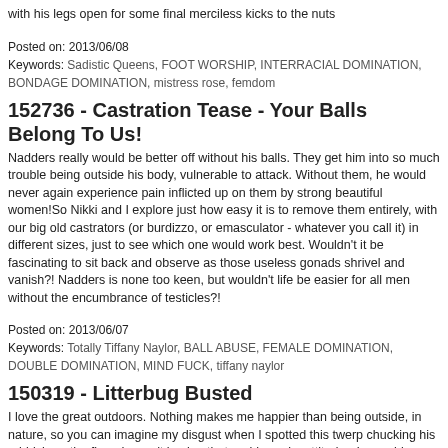with his legs open for some final merciless kicks to the nuts
Posted on: 2013/06/08
Keywords: Sadistic Queens, FOOT WORSHIP, INTERRACIAL DOMINATION, BONDAGE DOMINATION, mistress rose, femdom
152736 - Castration Tease - Your Balls Belong To Us!
Nadders really would be better off without his balls. They get him into so much trouble being outside his body, vulnerable to attack. Without them, he would never again experience pain inflicted up on them by strong beautiful women!So Nikki and I explore just how easy it is to remove them entirely, with our big old castrators (or burdizzo, or emasculator - whatever you call it) in different sizes, just to see which one would work best. Wouldn't it be fascinating to sit back and observe as those useless gonads shrivel and vanish?! Nadders is none too keen, but wouldn't life be easier for all men without the encumbrance of testicles?!
Posted on: 2013/06/07
Keywords: Totally Tiffany Naylor, BALL ABUSE, FEMALE DOMINATION, DOUBLE DOMINATION, MIND FUCK, tiffany naylor
150319 - Litterbug Busted
I love the great outdoors. Nothing makes me happier than being outside, in nature, so you can imagine my disgust when I spotted this twerp chucking his rubbish on the floor. I wasn't having that, or his cocky attitude - I gave him one chance to do the right thing and he ignored me. Kick up into his brain. Repeatedly. Don't drop litter.
Posted on: 2013/06/01
Keywords: Totally Tiffany Naylor, BALLBUSTING, BALL ABUSE, BALL STOMPING, OUTDOOR, SNEAKER FETISH, tiffany naylor
149762 - Ballbusting in Converse in the Woods